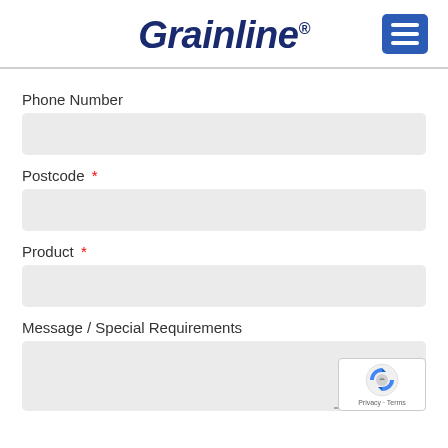Grainline®
Phone Number
Postcode *
Product *
Message / Special Requirements